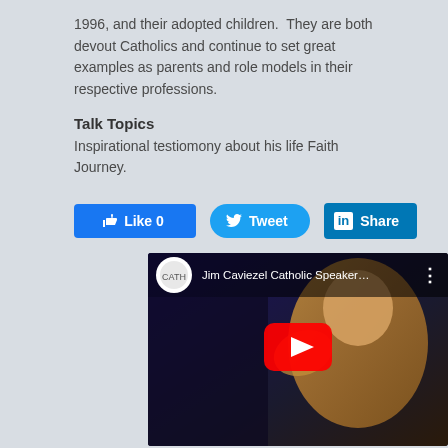1996, and their adopted children.  They are both devout Catholics and continue to set great examples as parents and role models in their respective professions.
Talk Topics
Inspirational testiomony about his life Faith Journey.
[Figure (screenshot): Social sharing buttons: Like 0 (Facebook), Tweet (Twitter), Share (LinkedIn)]
[Figure (screenshot): YouTube video embed showing Jim Caviezel Catholic Speaker... with a man gesturing on stage, play button overlay]